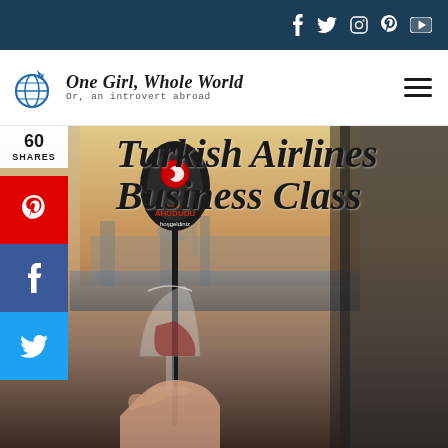Social media icons: Facebook, Twitter, Instagram, Pinterest, YouTube
[Figure (logo): Globe with airplane icon — One Girl, Whole World blog logo. Subtitle: Or, an introvert abroad]
[Figure (photo): Turkish Airlines Business Class hero image: a drink stirrer with Turkish Airlines logo over a glass, Istanbul skyline in background. Share sidebar shows 60 SHARES with Pinterest, Facebook, Twitter buttons. Title overlay reads 'Turkish Airlines Business Class' in large cursive font.]